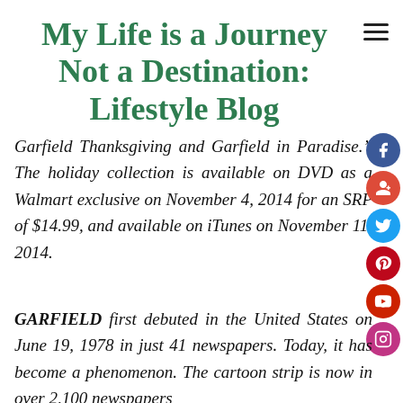My Life is a Journey Not a Destination: Lifestyle Blog
Garfield Thanksgiving and Garfield in Paradise.” The holiday collection is available on DVD as a Walmart exclusive on November 4, 2014 for an SRP of $14.99, and available on iTunes on November 11, 2014.
GARFIELD first debuted in the United States on June 19, 1978 in just 41 newspapers. Today, it has become a phenomenon. The cartoon strip is now in over 2,100 newspapers